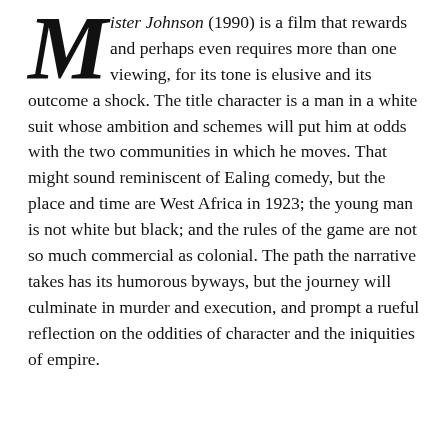Mister Johnson (1990) is a film that rewards and perhaps even requires more than one viewing, for its tone is elusive and its outcome a shock. The title character is a man in a white suit whose ambition and schemes will put him at odds with the two communities in which he moves. That might sound reminiscent of Ealing comedy, but the place and time are West Africa in 1923; the young man is not white but black; and the rules of the game are not so much commercial as colonial. The path the narrative takes has its humorous byways, but the journey will culminate in murder and execution, and prompt a rueful reflection on the oddities of character and the iniquities of empire.